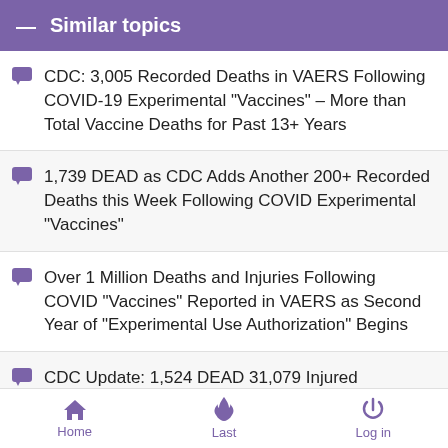Similar topics
CDC: 3,005 Recorded Deaths in VAERS Following COVID-19 Experimental "Vaccines" – More than Total Vaccine Deaths for Past 13+ Years
1,739 DEAD as CDC Adds Another 200+ Recorded Deaths this Week Following COVID Experimental "Vaccines"
Over 1 Million Deaths and Injuries Following COVID "Vaccines" Reported in VAERS as Second Year of "Experimental Use Authorization" Begins
CDC Update: 1,524 DEAD 31,079 Injured Following Experimental COVID MRNA 'Vaccines'
Up to 65% Increase in Deaths Among 18-49 Year Olds in U.S. During 2021, the Year of the Experimental COVID "Vaccines"
Home  Last  Log in